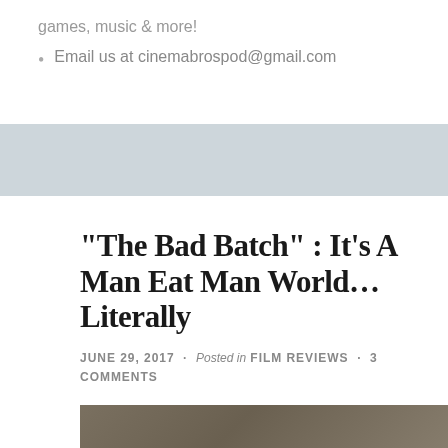games, music & more!
Email us at cinemabrospod@gmail.com
[Figure (other): Gray horizontal banner/divider band]
“The Bad Batch” : It’s A Man Eat Man World… Literally
JUNE 29, 2017 · Posted in FILM REVIEWS · 3 COMMENTS
[Figure (photo): Partial photo from The Bad Batch film, showing figures in an outdoor scene]